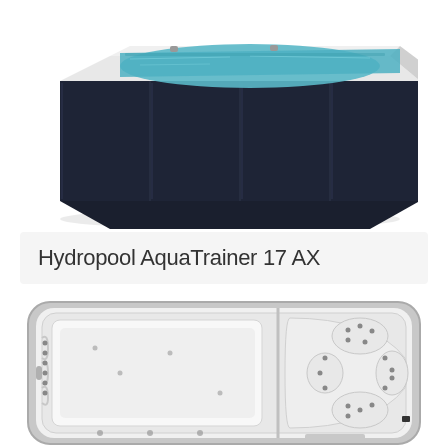[Figure (photo): Perspective view of Hydropool AquaTrainer 17 AX swim spa with dark navy/black exterior cabinet and blue water interior, viewed from above-front angle]
Hydropool AquaTrainer 17 AX
[Figure (photo): Top-down overhead view of Hydropool AquaTrainer 17 AX swim spa showing white interior with swim lane area on left and hot tub/therapy seat area on right, with jet positions and seating contours visible]